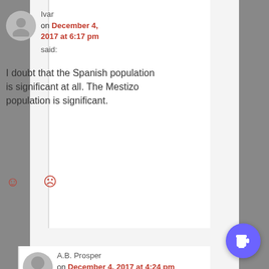Ivar
on December 4, 2017 at 6:17 pm
said:
I doubt that the Spanish population is significant at all. The Mestizo population is significant.
A.B. Prosper
on December 4, 2017 at 4:24 pm